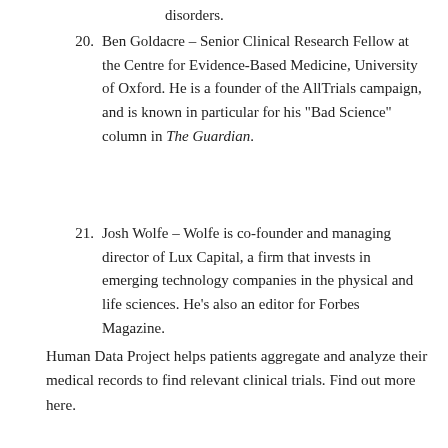disorders.
20. Ben Goldacre – Senior Clinical Research Fellow at the Centre for Evidence-Based Medicine, University of Oxford. He is a founder of the AllTrials campaign, and is known in particular for his "Bad Science" column in The Guardian.
21. Josh Wolfe – Wolfe is co-founder and managing director of Lux Capital, a firm that invests in emerging technology companies in the physical and life sciences. He's also an editor for Forbes Magazine.
Human Data Project helps patients aggregate and analyze their medical records to find relevant clinical trials. Find out more here.